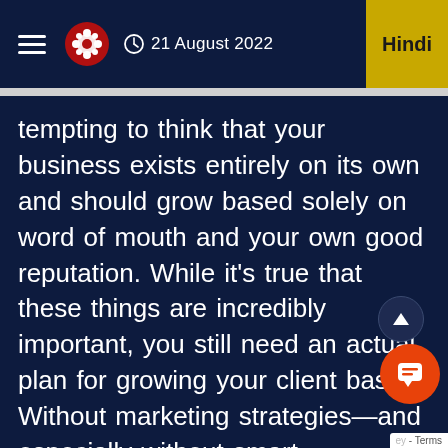21 August 2022   Hindi
tempting to think that your business exists entirely on its own and should grow based solely on word of mouth and your own good reputation. While it's true that these things are incredibly important, you still need an actual plan for growing your client base. Without marketing strategies—and especially without smart marketing strategies—you can't sustain growth over time or count on repeat customers who will refer you to their friends. You need a